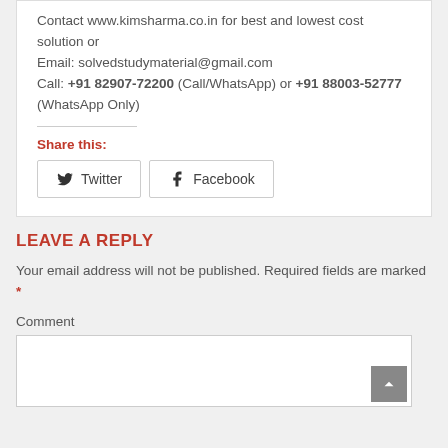Contact www.kimsharma.co.in for best and lowest cost solution or
Email: solvedstudymaterial@gmail.com
Call: +91 82907-72200 (Call/WhatsApp) or +91 88003-52777 (WhatsApp Only)
Share this:
[Figure (other): Twitter and Facebook share buttons]
LEAVE A REPLY
Your email address will not be published. Required fields are marked *
Comment
[Figure (other): Comment text area input box with scroll-to-top button]